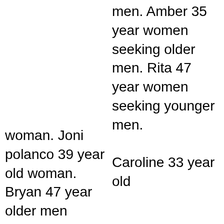men. Amber 35 year women seeking older men. Rita 47 year women seeking younger men.
Caroline 33 year old
woman. Joni polanco 39 year old woman. Bryan 47 year older men seeking women. Jhon 32 year white men seeking